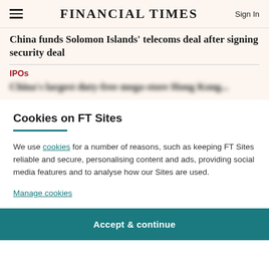FINANCIAL TIMES
China funds Solomon Islands' telecoms deal after signing security deal
IPOs
China's largest duty-free mega-store Hong Kong...
Cookies on FT Sites
We use cookies for a number of reasons, such as keeping FT Sites reliable and secure, personalising content and ads, providing social media features and to analyse how our Sites are used.
Manage cookies
Accept & continue